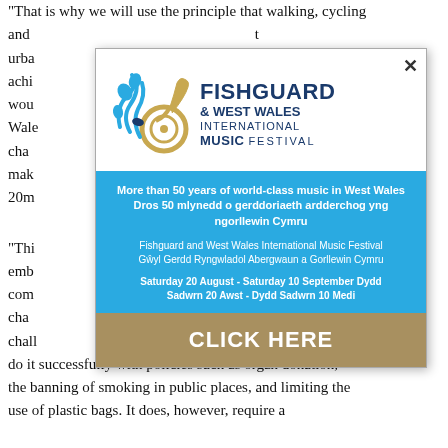“That is why we will use the principle that walking, cycling and [...]t urba[...] elp achi[...] it wou[...]ed Wale[...]the cha[...]and mak[...] of 20m[...]
[Figure (illustration): Fishguard & West Wales International Music Festival advertisement popup with logo, blue information section and gold click here button]
do it successfully with policies such as organ donation, the banning of smoking in public places, and limiting the use of plastic bags. It does, however, require a